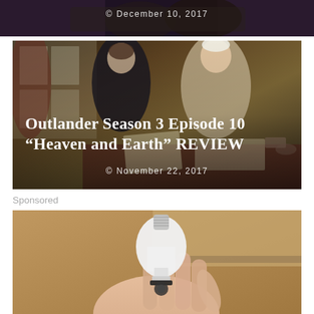[Figure (photo): Cropped top portion of a dark photo showing figures in period costume, with a date overlay 'December 10, 2017' (partially visible at top)]
[Figure (photo): Article card image for Outlander Season 3 Episode 10 review. Shows two people in 18th century period costumes in a dimly lit room with large windows. Overlaid text reads 'Outlander Season 3 Episode 10 "Heaven and Earth" REVIEW' with date 'November 22, 2017']
Sponsored
[Figure (photo): Sponsored advertisement image showing a hand holding a white smart LED light bulb with a black accent ring, against a warm brown/tan background]